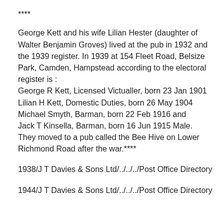****
George Kett and his wife Lilian Hester (daughter of Walter Benjamin Groves) lived at the pub in 1932 and the 1939 register. In 1939 at 154 Fleet Road, Belsize Park, Camden, Hampstead according to the electoral register is : George R Kett, Licensed Victualler, born 23 Jan 1901 Lilian H Kett, Domestic Duties, born 26 May 1904 Michael Smyth, Barman, born 22 Feb 1916 and Jack T Kinsella, Barman, born 16 Jun 1915 Male. They moved to a pub called the Bee Hive on Lower Richmond Road after the war.****
1938/J T Davies & Sons Ltd/../../../Post Office Directory
1944/J T Davies & Sons Ltd/../../../Post Office Directory